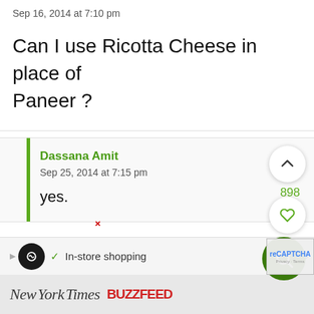Sep 16, 2014 at 7:10 pm
Can I use Ricotta Cheese in place of Paneer ?
Dassana Amit
Sep 25, 2014 at 7:15 pm
yes.
898
As Seen In:
[Figure (screenshot): Advertisement bar showing a black circle logo with infinity symbol, a checkmark, 'In-store shopping' text, and a blue diamond arrow icon]
[Figure (screenshot): Bottom strip showing New York Times italic logo and BuzzFeed red logo]